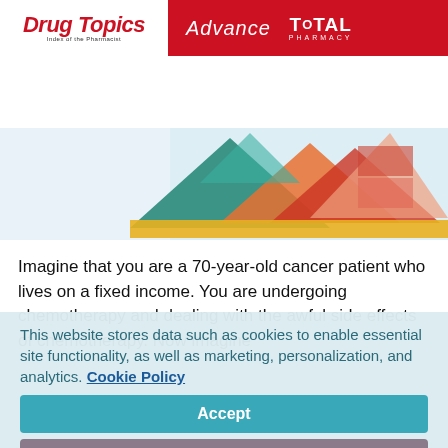Drug Topics | Advance | TOTAL PHARMACY
[Figure (logo): Drug Topics navigation bar with hamburger menu, Drug Topics logo in red italic, and search icon]
[Figure (illustration): Colorful geometric triangle shapes in teal, orange, red, yellow on a light blue background — article hero image]
Imagine that you are a 70-year-old cancer patient who lives on a fixed income. You are undergoing chemotherapy and dealing with the awful side effects of chemotherapy. Now imagine
This website stores data such as cookies to enable essential site functionality, as well as marketing, personalization, and analytics. Cookie Policy
Accept
Deny